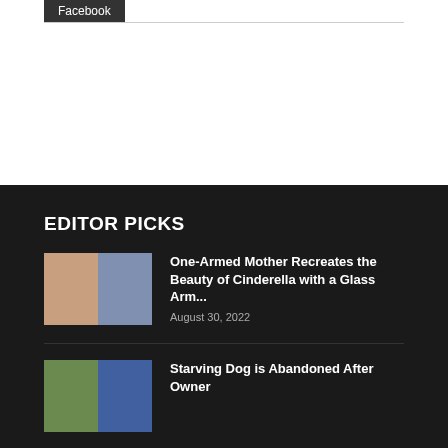Facebook
EDITOR PICKS
[Figure (photo): Two-panel thumbnail showing a woman and a family in Cinderella costumes]
One-Armed Mother Recreates the Beauty of Cinderella with a Glass Arm...
August 30, 2022
[Figure (photo): Thumbnail showing a dog outdoors near a car]
Starving Dog is Abandoned After Owner